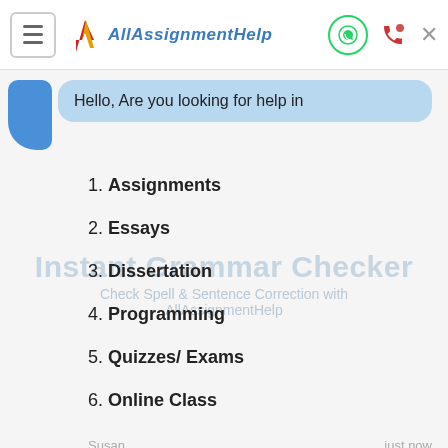[Figure (screenshot): AllAssignmentHelp chat widget header with hamburger menu, logo, WhatsApp icon, phone icon, and close button]
Hello, Are you looking for help in
1. Assignments
2. Essays
3. Dissertation
4. Programming
5. Quizzes/ Exams
6. Online Class
Instant Grammar Checker
Check Spell & Sentence Correction with AllAssignmentHelp
Susan   just now
Try Now >
Type here and press enter..
[Figure (screenshot): Bottom section with WhatsApp green button, blue device illustration, and teal floating chat button with notification badge showing 1]